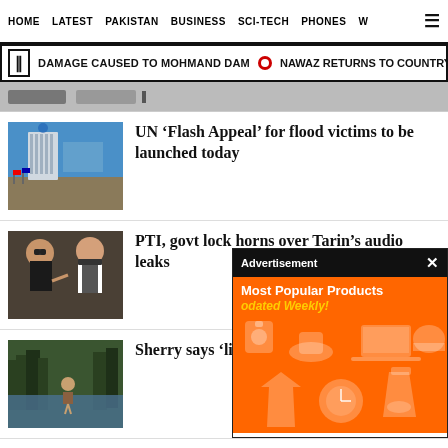HOME  LATEST  PAKISTAN  BUSINESS  SCI-TECH  PHONES  W
DAMAGE CAUSED TO MOHMAND DAM  •  NAWAZ RETURNS TO COUNTRY'S AIRWAY
[Figure (screenshot): Blurred promotional image strip]
[Figure (photo): UN building with flags]
UN ‘Flash Appeal’ for flood victims to be launched today
[Figure (photo): Two men, one pointing finger]
PTI, govt lock horns over Tarin’s audio leaks
[Figure (photo): Person wading through flood water in a forest]
Sherry says ‘li... under water
[Figure (screenshot): Advertisement overlay showing Most Popular Products - Updated Weekly! with orange background and product icons]